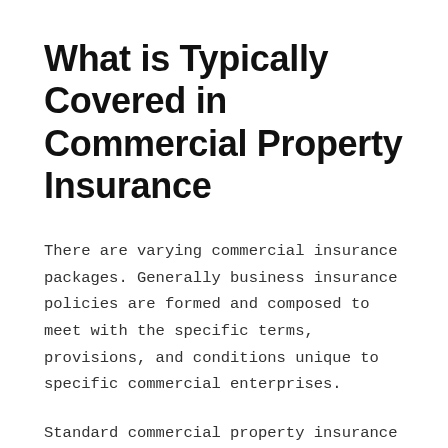What is Typically Covered in Commercial Property Insurance
There are varying commercial insurance packages. Generally business insurance policies are formed and composed to meet with the specific terms, provisions, and conditions unique to specific commercial enterprises.
Standard commercial property insurance policies primarily provide for building coverage (if you own the building that houses your business) and